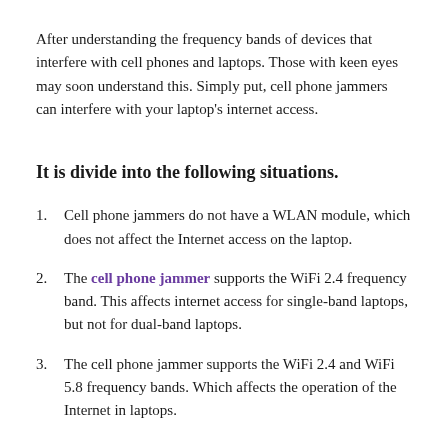After understanding the frequency bands of devices that interfere with cell phones and laptops. Those with keen eyes may soon understand this. Simply put, cell phone jammers can interfere with your laptop's internet access.
It is divide into the following situations.
Cell phone jammers do not have a WLAN module, which does not affect the Internet access on the laptop.
The cell phone jammer supports the WiFi 2.4 frequency band. This affects internet access for single-band laptops, but not for dual-band laptops.
The cell phone jammer supports the WiFi 2.4 and WiFi 5.8 frequency bands. Which affects the operation of the Internet in laptops.
With the detailed understanding above, do mobile phone disruptions affect your laptop's internet access? I have the answer. Cell phone jammers can affect the Internet access capabilities of laptops. For customers who need to